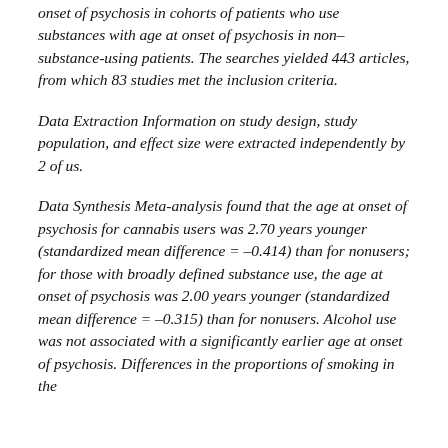onset of psychosis in cohorts of patients who use substances with age at onset of psychosis in non–substance-using patients. The searches yielded 443 articles, from which 83 studies met the inclusion criteria.
Data Extraction Information on study design, study population, and effect size were extracted independently by 2 of us.
Data Synthesis Meta-analysis found that the age at onset of psychosis for cannabis users was 2.70 years younger (standardized mean difference = –0.414) than for nonusers; for those with broadly defined substance use, the age at onset of psychosis was 2.00 years younger (standardized mean difference = –0.315) than for nonusers. Alcohol use was not associated with a significantly earlier age at onset of psychosis. Differences in the proportions of smoking in the